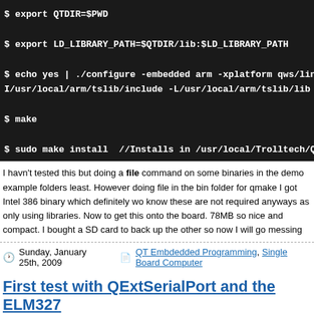$ export QTDIR=$PWD
$ export LD_LIBRARY_PATH=$QTDIR/lib:$LD_LIBRARY_PATH
$ echo yes | ./configure -embedded arm -xplatform qws/linux-arm-g++ -no-qvfb -depth I/usr/local/arm/tslib/include -L/usr/local/arm/tslib/lib
$ make
$ sudo make install  //Installs in /usr/local/Trolltech/QT-Embedded-4.4.3-arm/
I havn't tested this but doing a file command on some binaries in the demo example folders least. However doing file in the bin folder for qmake I got Intel 386 binary which definitely wo know these are not required anyways as only using libraries. Now to get this onto the board. 78MB so nice and compact. I bought a SD card to back up the other so now I will go messing
Sunday, January 25th, 2009   QT Embdedded Programming, Single Board Computer
First test with QExtSerialPort and the ELM327
Today I decided to write a simple console application that would read the RPM of my vehicle
Obtaining the RPM of the engine requires sending a Mode 1 PID of 0C to the ELM327. By d command to you along with the result to confirm that the command you sent was received c